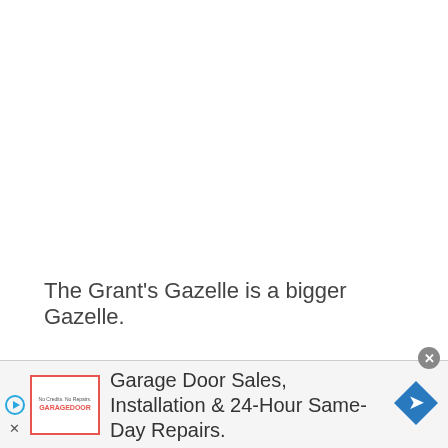The Grant's Gazelle is a bigger Gazelle.
[Figure (other): Advertisement banner for Garage Door Sales. Contains a logo box with red border, text reading 'Garage Door Sales, Installation & 24-Hour Same-Day Repairs.' and a blue navigation/direction icon on the right.]